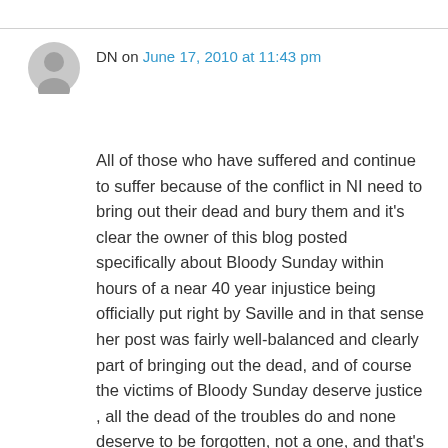DN on June 17, 2010 at 11:43 pm
All of those who have suffered and continue to suffer because of the conflict in NI need to bring out their dead and bury them and it's clear the owner of this blog posted specifically about Bloody Sunday within hours of a near 40 year injustice being officially put right by Saville and in that sense her post was fairly well-balanced and clearly part of bringing out the dead, and of course the victims of Bloody Sunday deserve justice , all the dead of the troubles do and none deserve to be forgotten, not a one, and that's what that other guy should have said instead of leaping to conclusions about the post being overly sectarian , but as callous as it may seem